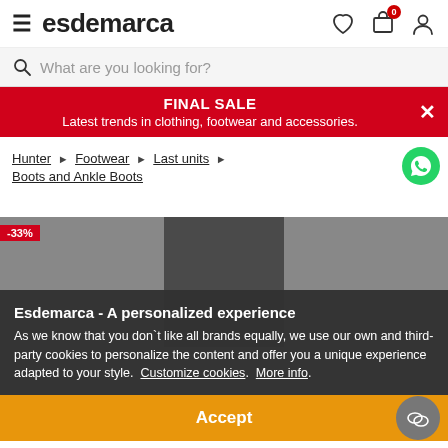esdemarca — navigation header with hamburger menu, logo, wishlist, cart (0), and user icons
What are you looking for?
FINAL SALE
Latest trends in clothing, footwear and accessories.
Hunter ▶ Footwear ▶ Last units ▶ Boots and Ankle Boots
[Figure (screenshot): Dark grey product image area with -33% discount badge]
Esdemarca - A personalized experience
As we know that you don`t like all brands equally, we use our own and third-party cookies to personalize the content and offer you a unique experience adapted to your style. Customize cookies. More info.
Accept